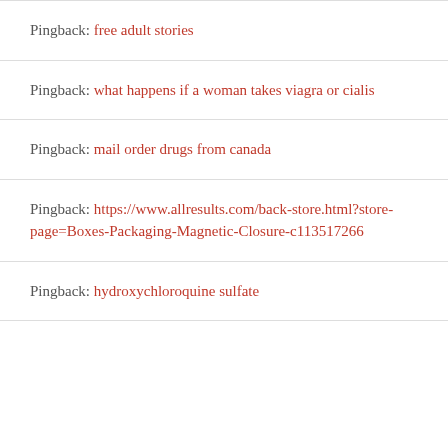Pingback: free adult stories
Pingback: what happens if a woman takes viagra or cialis
Pingback: mail order drugs from canada
Pingback: https://www.allresults.com/back-store.html?store-page=Boxes-Packaging-Magnetic-Closure-c113517266
Pingback: hydroxychloroquine sulfate